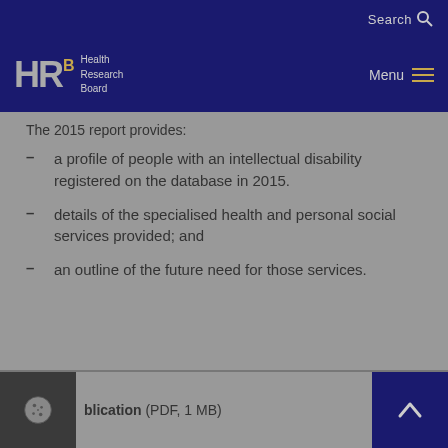Search
HRB Health Research Board Menu
The 2015 report provides:
a profile of people with an intellectual disability registered on the database in 2015.
details of the specialised health and personal social services provided; and
an outline of the future need for those services.
blication (PDF, 1 MB)